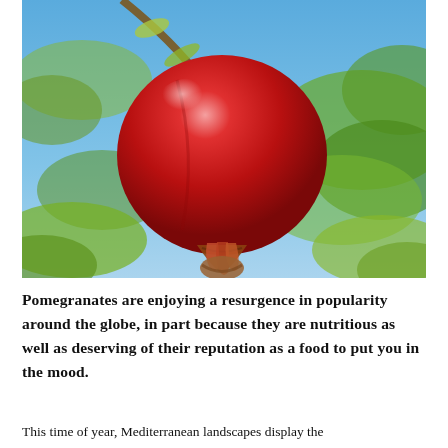[Figure (photo): Close-up photograph of a ripe red pomegranate hanging from a branch against a blue sky, with green foliage visible in the background.]
Pomegranates are enjoying a resurgence in popularity around the globe, in part because they are nutritious as well as deserving of their reputation as a food to put you in the mood.
This time of year, Mediterranean landscapes display the